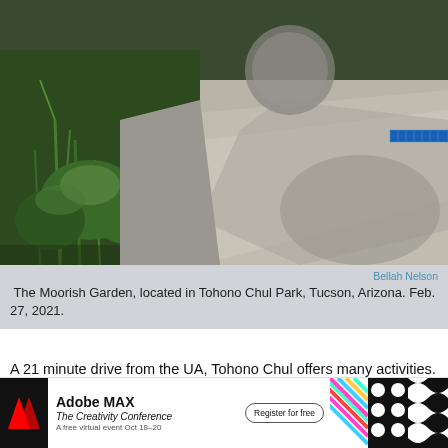[Figure (photo): Overhead/ground-level photo of the Moorish Garden at Tohono Chul Park, Tucson, Arizona. Shows desert plants, flagstone paving, a circular stone feature, and a blue mosaic-tiled element in the upper right corner. Strong shadows visible on the stone path.]
Bellah Nelson
 The Moorish Garden, located in Tohono Chul Park, Tucson, Arizona. Feb. 27, 2021.
A 21 minute drive from the UA, Tohono Chul offers many activities. Admission to Tohono Chul gives visitors access to various botanical gardens, art exhibits and a bistro. Tickets are for timed admission and masks are mandated. If you provide
[Figure (other): Adobe MAX advertisement banner. Shows Adobe logo, Adobe MAX title, The Creativity Conference subtitle, Register for free button, A free virtual event Oct 18-20 text, and colorful patterned graphics.]